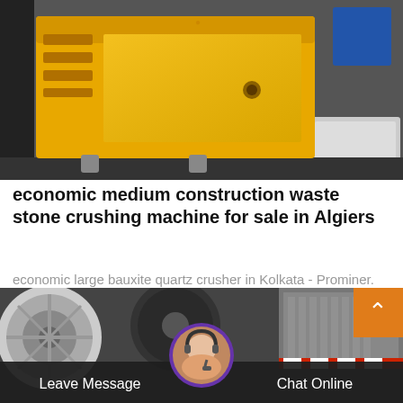[Figure (photo): Yellow industrial jaw crusher/stone crushing machine parked on concrete, with dark equipment on the left and a white frame on the right]
economic medium construction waste stone crushing machine for sale in Algiers
economic large bauxite quartz crusher in Kolkata - Prominer. medium bauxite cone crusher in Kolkata India South Asia BauxiteCrushersIn Nigeria.Bauxiteorecrusherfо...
Chat Online
[Figure (photo): Industrial crusher machinery with large wheels/rollers, a building in background, customer service representative avatar with headset in the center]
Leave Message
Chat Online